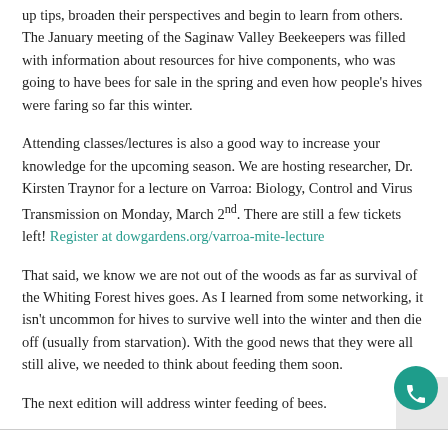up tips, broaden their perspectives and begin to learn from others. The January meeting of the Saginaw Valley Beekeepers was filled with information about resources for hive components, who was going to have bees for sale in the spring and even how people's hives were faring so far this winter.
Attending classes/lectures is also a good way to increase your knowledge for the upcoming season. We are hosting researcher, Dr. Kirsten Traynor for a lecture on Varroa: Biology, Control and Virus Transmission on Monday, March 2nd. There are still a few tickets left! Register at dowgardens.org/varroa-mite-lecture
That said, we know we are not out of the woods as far as survival of the Whiting Forest hives goes. As I learned from some networking, it isn't uncommon for hives to survive well into the winter and then die off (usually from starvation). With the good news that they were all still alive, we needed to think about feeding them soon.
The next edition will address winter feeding of bees.